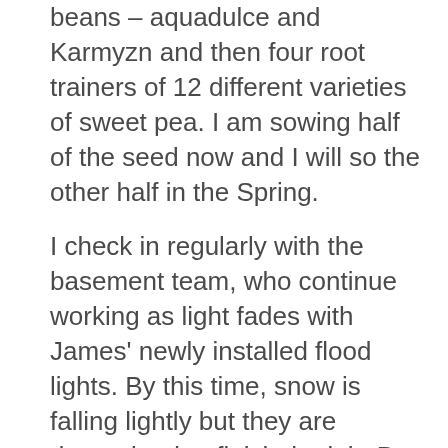beans – aquadulce and Karmyzn and then four root trainers of 12 different varieties of sweet pea. I am sowing half of the seed now and I will so the other half in the Spring.
I check in regularly with the basement team, who continue working as light fades with James' newly installed flood lights. By this time, snow is falling lightly but they are determined to finish the job. By early evening the floor is largely in place, an incredible achievement and it looks wonderful. It is so good to see the basement hole closed at last!

During the day, Aideen insists we all sit on the new floor for our tea breaks as it will be the floor of the visitors tea room!